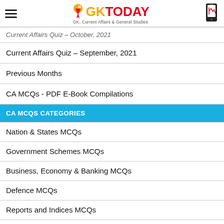GK TODAY - GK, Current Affairs & General Studies
Current Affairs Quiz – October, 2021
Current Affairs Quiz – September, 2021
Previous Months
CA MCQs - PDF E-Book Compilations
CA MCQS CATEGORIES
Nation & States MCQs
Government Schemes MCQs
Business, Economy & Banking MCQs
Defence MCQs
Reports and Indices MCQs
Environment & Biodiversity MCQs
Awards, Honours & Persons MCQs
Places in News MCQs